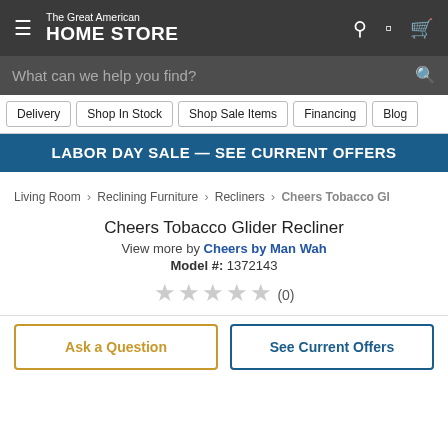The Great American HOME STORE
What can we help you find?
Delivery
Shop In Stock
Shop Sale Items
Financing
Blog
LABOR DAY SALE — SEE CURRENT OFFERS
Living Room > Reclining Furniture > Recliners > Cheers Tobacco Gl
Cheers Tobacco Glider Recliner
View more by Cheers by Man Wah
Model #: 1372143
★★★★★ (0)
Ask a Question
See Current Offers